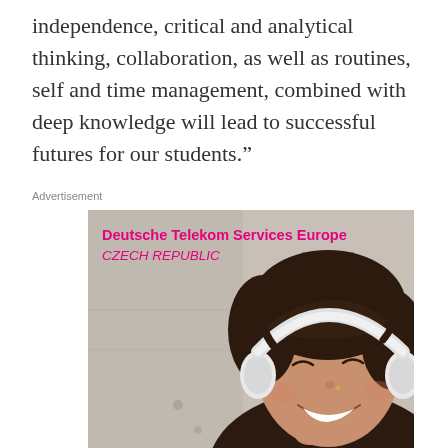independence, critical and analytical thinking, collaboration, as well as routines, self and time management, combined with deep knowledge will lead to successful futures for our students.”
Advertisement
[Figure (photo): Advertisement for Deutsche Telekom Services Europe Czech Republic. Shows a smiling young woman wearing white headphones against a light concrete background. Magenta bold text reads 'Deutsche Telekom Services Europe' and italic magenta text reads 'CZECH REPUBLIC'.]